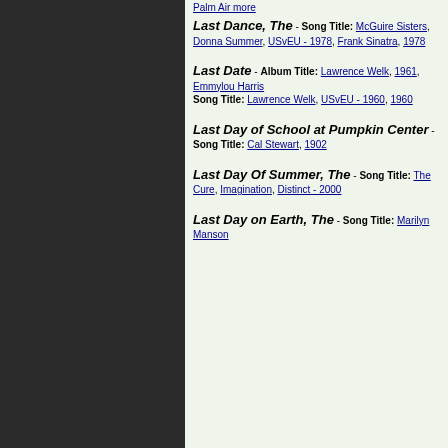Last Dance, The - Song Title: McGuire Sisters, Donna Summer, USvEU - 1978, Frank Sinatra, 1978
Last Date - Album Title: Lawrence Welk, 1961, Emmylou Harris Song Title: Lawrence Welk, USvEU - 1960, 1960
Last Day of School at Pumpkin Center - Song Title: Cal Stewart, 1902
Last Day Of Summer, The - Song Title: The Cure, Imagination, Distinct - 2000
Last Day on Earth, The - Song Title: Marilyn Manson